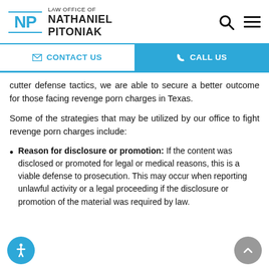[Figure (logo): Law Office of Nathaniel Pitoniak logo with NP monogram in blue]
[Figure (infographic): Navigation bar with Contact Us and Call Us buttons]
cutter defense tactics, we are able to secure a better outcome for those facing revenge porn charges in Texas.
Some of the strategies that may be utilized by our office to fight revenge porn charges include:
Reason for disclosure or promotion: If the content was disclosed or promoted for legal or medical reasons, this is a viable defense to prosecution. This may occur when reporting unlawful activity or a legal proceeding if the disclosure or promotion of the material was required by law.